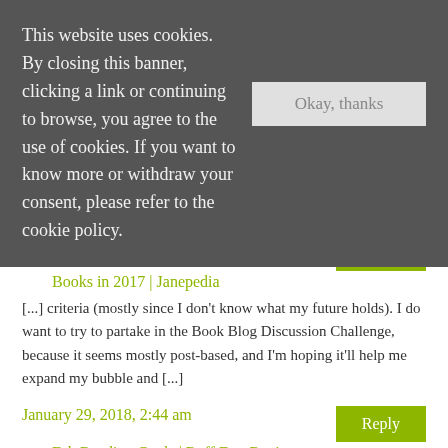This website uses cookies. By closing this banner, clicking a link or continuing to browse, you agree to the use of cookies. If you want to know more or withdraw your consent, please refer to the cookie policy.
Midnight. This is a [...]
January 28, 2018, 10:32 am
Books in 2017 | Janepedia
[...] criteria (mostly since I don't know what my future holds). I do want to try to partake in the Book Blog Discussion Challenge, because it seems mostly post-based, and I'm hoping it'll help me expand my bubble and [...]
January 29, 2018, 2:44 am
Feb Reading Goals | Ruff Day Reviews
[...] 2018 Book Blog Discussion & Blog All About It (Weekly on Saturday) [...]